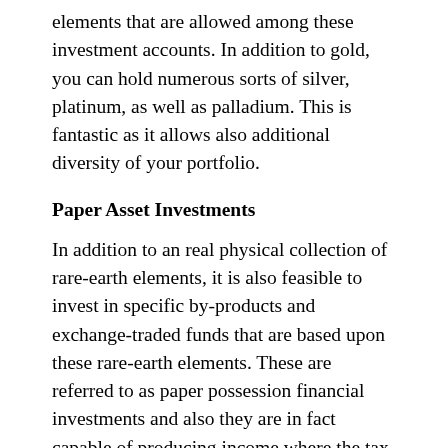elements that are allowed among these investment accounts. In addition to gold, you can hold numerous sorts of silver, platinum, as well as palladium. This is fantastic as it allows also additional diversity of your portfolio.
Paper Asset Investments
In addition to an real physical collection of rare-earth elements, it is also feasible to invest in specific by-products and exchange-traded funds that are based upon these rare-earth elements. These are referred to as paper possession financial investments and also they are in fact capable of producing income where the tax obligation can be postponed.
Diversify Your Portfolio
You have probably heard the guidance to expand your